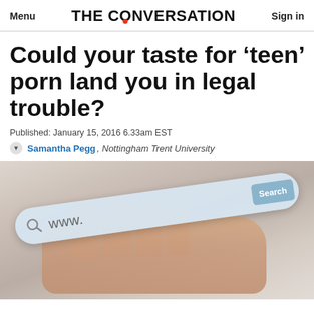Menu | THE CONVERSATION | Sign in
Could your taste for ‘teen’ porn land you in legal trouble?
Published: January 15, 2016 6.33am EST
Samantha Pegg, Nottingham Trent University
[Figure (photo): A hand holding a transparent search bar showing 'www.' with a search icon and a Search button, blurred background]